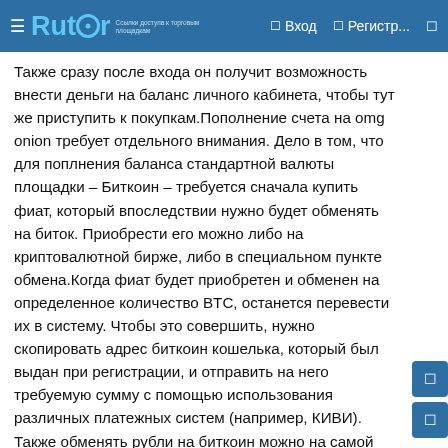Rutor | Вход | Регистр...
Также сразу после входа он получит возможность внести деньги на баланс личного кабинета, чтобы тут же приступить к покупкам.Пополнение счета на omg onion требует отдельного внимания. Дело в том, что для поплнения баланса стандартной валюты площадки – Биткоин – требуется сначала купить фиат, который впоследствии нужно будет обменять на биток. Приобрести его можно либо на криптовалютной бирже, либо в специальном пункте обмена.Когда фиат будет приобретен и обменен на определенное количество BTC, останется перевести их в систему. Чтобы это совершить, нужно скопировать адрес биткоин кошелька, который был выдан при регистрации, и отправить на него требуемую сумму с помощью использования различных платежных систем (например, КИВИ). Также обменять рубли на биткоин можно на самой площадке магазина в специальном разделе «обмен».Как не дать себя обмануть​Для защиты от поддельных сайтов, была разработана сеть отказоустойчевых зеркал.Чтобы не попасть на